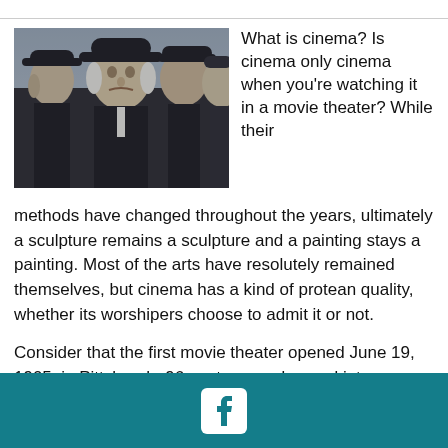[Figure (photo): A black-and-white cinematic still showing four people dressed in dark clothing and hats, seemingly at a somber occasion. A stern older man is prominent in the center-left.]
What is cinema? Is cinema only cinema when you're watching it in a movie theater? While their methods have changed throughout the years, ultimately a sculpture remains a sculpture and a painting stays a painting. Most of the arts have resolutely remained themselves, but cinema has a kind of protean quality, whether its worshipers choose to admit it or not.
Consider that the first movie theater opened June 19, 1905, in Pittsburgh. 96 seats were dragged into an empty store located on Smithfield Street, and when it opened, admission was a